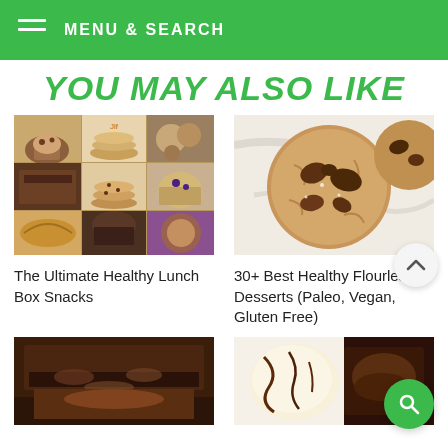MENU & SEARCH
YOU MAY ALSO LIKE
[Figure (photo): Collage of healthy lunch box snack foods including muffins, cookies, brownies, and other baked goods]
The Ultimate Healthy Lunch Box Snacks
[Figure (photo): Close-up of a large chocolate chip cookie on marble surface]
30+ Best Healthy Flourless Desserts (Paleo, Vegan, Gluten Free)
[Figure (photo): Close-up of chocolate brownies with fudgy interior]
[Figure (photo): Ice cream sundae with chocolate sauce and brownies]